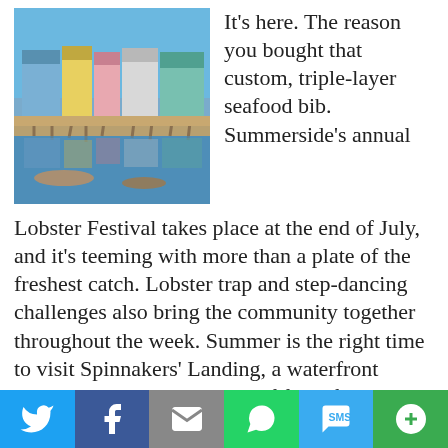[Figure (photo): Waterfront buildings on stilts over water, colorful coastal town scene reflected in calm water with boats in foreground]
It's here. The reason you bought that custom, triple-layer seafood bib. Summerside's annual Lobster Festival takes place at the end of July, and it's teeming with more than a plate of the freshest catch. Lobster trap and step-dancing challenges also bring the community together throughout the week. Summer is the right time to visit Spinnakers' Landing, a waterfront marketplace where the lure of fresh fudge and antiques is too good to pass up. If you can't make it to PEI in warmer temperatures, though, this town of 15,000 people is still a great
[Figure (infographic): Social sharing footer bar with Twitter, Facebook, Email, WhatsApp, SMS, and More buttons]